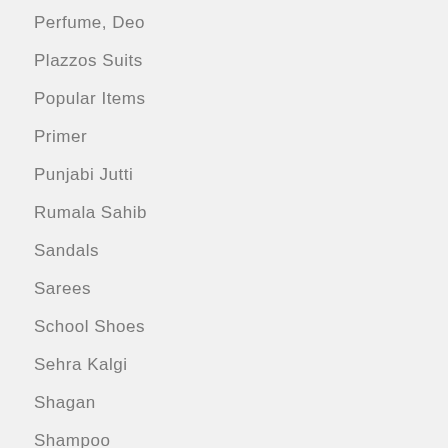Perfume, Deo
Plazzos Suits
Popular Items
Primer
Punjabi Jutti
Rumala Sahib
Sandals
Sarees
School Shoes
Sehra Kalgi
Shagan
Shampoo
Shapewear
Sherwani
Shirts
Shorts